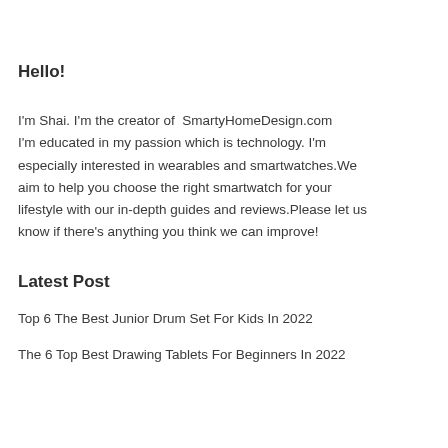Hello!
I'm Shai. I'm the creator of  SmartyHomeDesign.com I'm educated in my passion which is technology. I'm especially interested in wearables and smartwatches.We aim to help you choose the right smartwatch for your lifestyle with our in-depth guides and reviews.Please let us know if there's anything you think we can improve!
Latest Post
Top 6 The Best Junior Drum Set For Kids In 2022
The 6 Top Best Drawing Tablets For Beginners In 2022